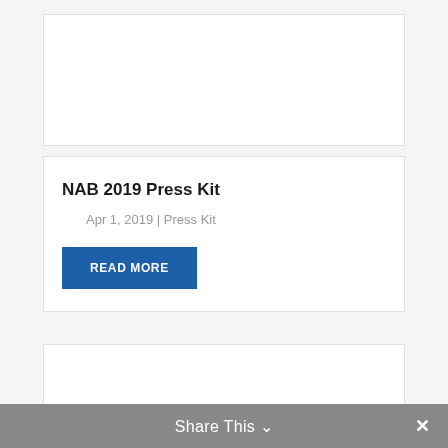NAB 2019 Press Kit
Apr 1, 2019 | Press Kit
READ MORE
Share This ∨ ✕